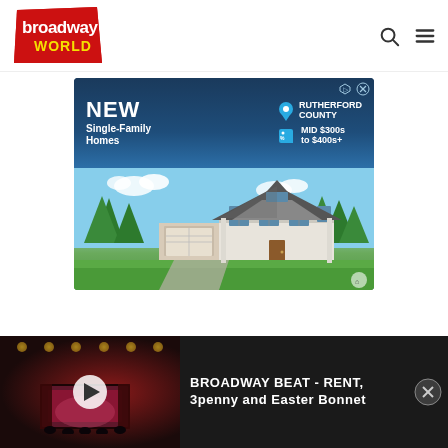BroadwayWorld
[Figure (photo): Advertisement banner for new single-family homes in Rutherford County, mid $300s to $400s+, showing a large two-story house with garage and green lawn]
[Figure (screenshot): Video player thumbnail showing a dark theater interior with stage lighting and a play button overlay]
BROADWAY BEAT - RENT, 3penny and Easter Bonnet